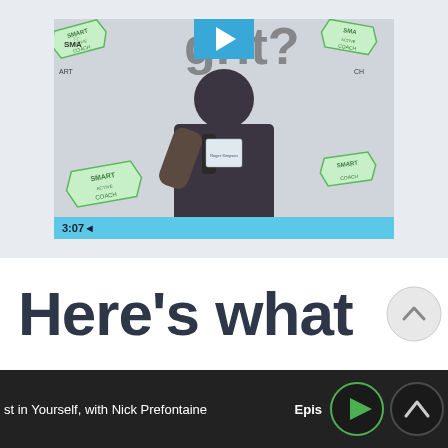[Figure (screenshot): Video thumbnail showing a person in a dark t-shirt holding a microphone at a Smart Coach event, with a blue progress bar overlay showing timestamp 3:07]
Here's what
st in Yourself, with Nick Prefontaine   Epis